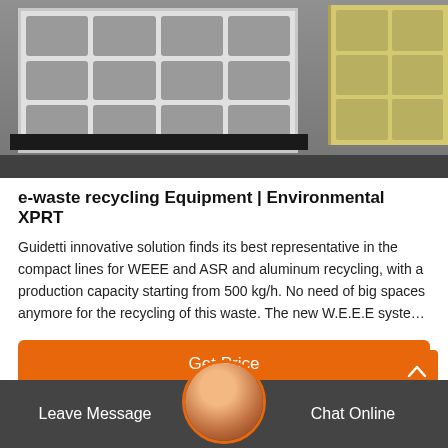[Figure (photo): Industrial e-waste recycling machine — large white/grey metal frame with rectangular grid openings, viewed from front-left angle, with a yellow machine component visible on the right side, on a dark floor in an industrial setting.]
e-waste recycling Equipment | Environmental XPRT
Guidetti innovative solution finds its best representative in the compact lines for WEEE and ASR and aluminum recycling, with a production capacity starting from 500 kg/h. No need of big spaces anymore for the recycling of this waste. The new W.E.E.E syste…
Get Price
Leave Message
Chat Online